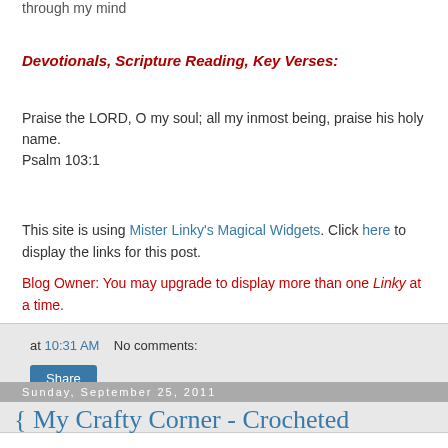through my mind
Devotionals, Scripture Reading, Key Verses:
Praise the LORD, O my soul; all my inmost being, praise his holy name.
Psalm 103:1
This site is using Mister Linky's Magical Widgets. Click here to display the links for this post. Blog Owner: You may upgrade to display more than one Linky at a time.
at 10:31 AM   No comments:
Share
Sunday, September 25, 2011
{ My Crafty Corner - Crocheted